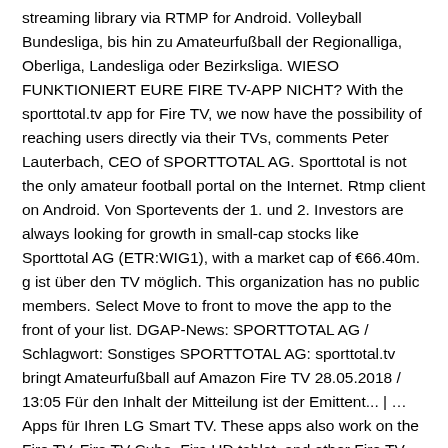streaming library via RTMP for Android. Volleyball Bundesliga, bis hin zu Amateurfußball der Regionalliga, Oberliga, Landesliga oder Bezirksliga. WIESO FUNKTIONIERT EURE FIRE TV-APP NICHT? With the sporttotal.tv app for Fire TV, we now have the possibility of reaching users directly via their TVs, comments Peter Lauterbach, CEO of SPORTTOTAL AG. Sporttotal is not the only amateur football portal on the Internet. Rtmp client on Android. Von Sportevents der 1. und 2. Investors are always looking for growth in small-cap stocks like Sporttotal AG (ETR:WIG1), with a market cap of €66.40m. g ist über den TV möglich. This organization has no public members. Select Move to front to move the app to the front of your list. DGAP-News: SPORTTOTAL AG / Schlagwort: Sonstiges SPORTTOTAL AG: sporttotal.tv bringt Amateurfußball auf Amazon Fire TV 28.05.2018 / 13:05 Für den Inhalt der Mitteilung ist der Emittent... | … Apps für Ihren LG Smart TV. These apps also work on the Fire TV, Fire TV Cube, Fire HD tablet, and other Fire TV devices. Mit LG webOS (AI ThinQ) erleben Sie Entertainment auf eine ganz neue Art und Weise - überzeugen Sie sich selbst! DGAP-News: SPORTTOTAL AG / Key word(s): Product Launch 17.06.2020 / 13:46 The issuer is solely responsible for the